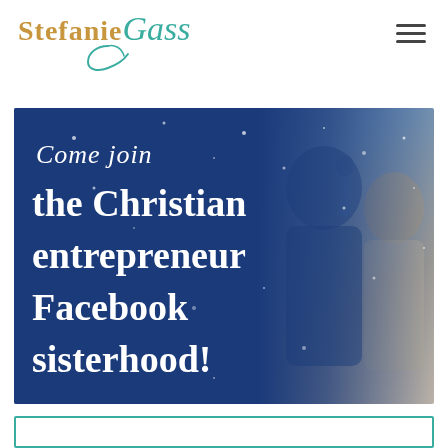Stefanie Gass
[Figure (illustration): Promotional banner with dark blue background showing text 'Come join the Christian entrepreneur Facebook sisterhood!' overlaid on an image of women, with sparkle effects.]
[Figure (other): Partial teal-bordered rectangle at the bottom of the page, likely a signup or call-to-action box.]